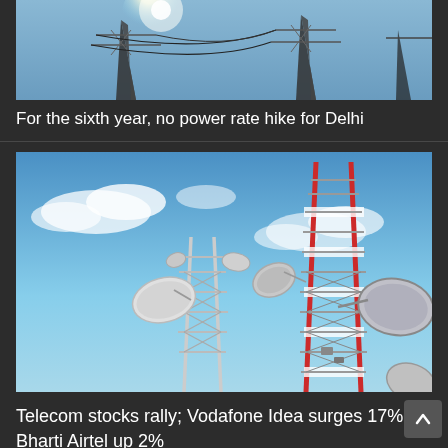[Figure (photo): Partial view of electricity transmission towers with power lines against a bright sky, cropped at top]
For the sixth year, no power rate hike for Delhi
[Figure (photo): Two telecom/cell towers with satellite dishes and antennas against a blue sky with clouds]
Telecom stocks rally; Vodafone Idea surges 17%, Bharti Airtel up 2%
[Figure (photo): Partial bottom card image, partially visible]